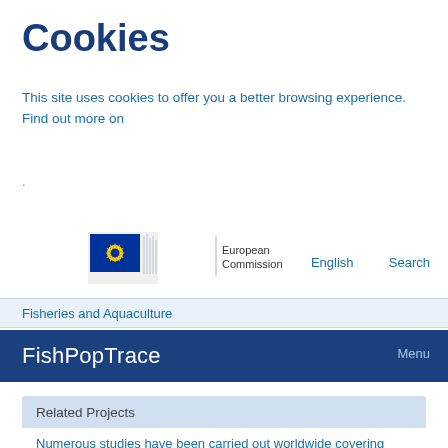Cookies
This site uses cookies to offer you a better browsing experience. Find out more on
.
[Figure (logo): European Commission logo with EU flag stars and building graphic, text reads 'European Commission']
English  Search
Fisheries and Aquaculture
FishPopTrace
Menu
Related Projects
Numerous studies have been carried out worldwide covering many aspects related to fish population biology, traceability